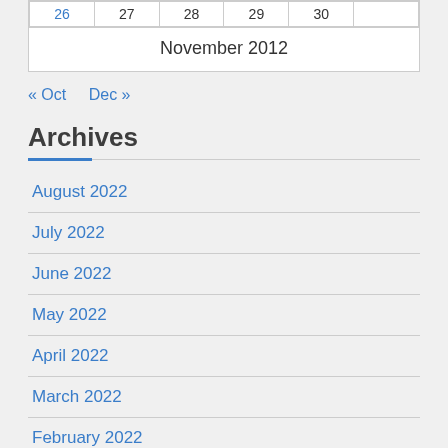| 26 | 27 | 28 | 29 | 30 |  |
| --- | --- | --- | --- | --- | --- |
| November 2012 |
« Oct   Dec »
Archives
August 2022
July 2022
June 2022
May 2022
April 2022
March 2022
February 2022
January 2022